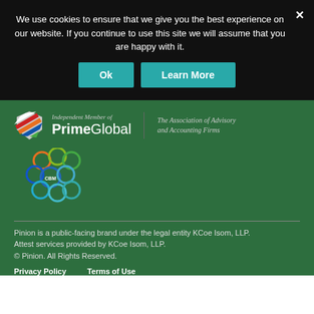We use cookies to ensure that we give you the best experience on our website. If you continue to use this site we will assume that you are happy with it.
[Figure (other): PrimeGlobal logo with shield icon, text 'Independent Member of PrimeGlobal | The Association of Advisory and Accounting Firms']
[Figure (logo): CBM interconnected circles logo in orange, green, blue, and teal colors]
Pinion is a public-facing brand under the legal entity KCoe Isom, LLP.
Attest services provided by KCoe Isom, LLP.
© Pinion. All Rights Reserved.
Privacy Policy   Terms of Use